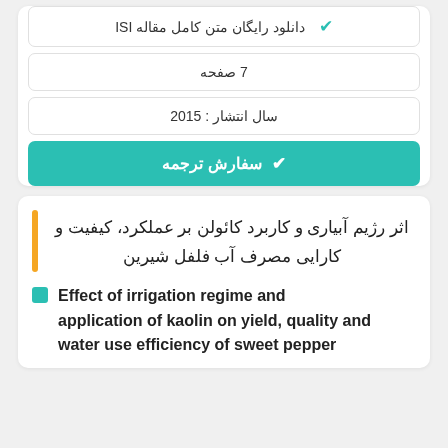دانلود رایگان متن کامل مقاله ISI
7 صفحه
سال انتشار : 2015
سفارش ترجمه
اثر رژیم آبیاری و کاربرد کائولن بر عملکرد، کیفیت و کارایی مصرف آب فلفل شیرین
Effect of irrigation regime and application of kaolin on yield, quality and water use efficiency of sweet pepper